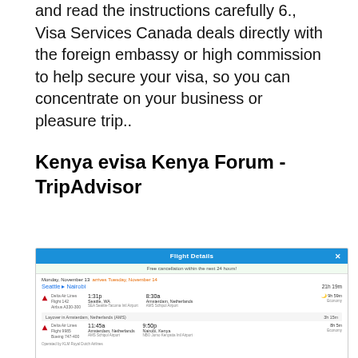and read the instructions carefully 6., Visa Services Canada deals directly with the foreign embassy or high commission to help secure your visa, so you can concentrate on your business or pleasure trip..
Kenya evisa Kenya Forum - TripAdvisor
[Figure (screenshot): Screenshot of a flight booking modal showing Flight Details for Seattle to Nairobi on Monday November 13, arriving Tuesday November 14. Two Delta Air Lines segments: 1:31p Seattle WA to 8:30a Amsterdam Netherlands (9h 59m, Economy), then 11:45a Amsterdam Netherlands to 9:50p Nairobi Kenya (8h 5m, Economy), with 3h 15m layover in Amsterdam. Total journey 21h 19m.]